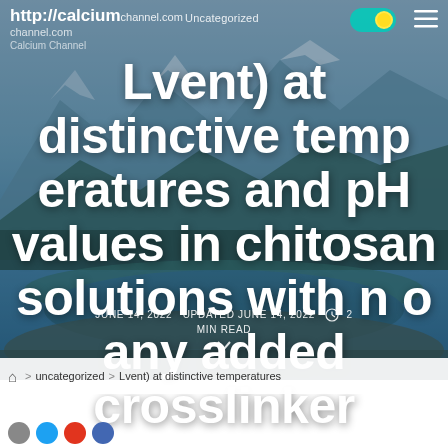http://calciumchannel.com  Uncategorized  Calcium Channel
Lvent) at distinctive temperatures and pH values in chitosan solutions with no any added crosslinker
JUNE 14, 2022  UPDATED JUNE 14, 2022  2 MIN READ
> uncategorized > Lvent) at distinctive temperatures
Social sharing icons row